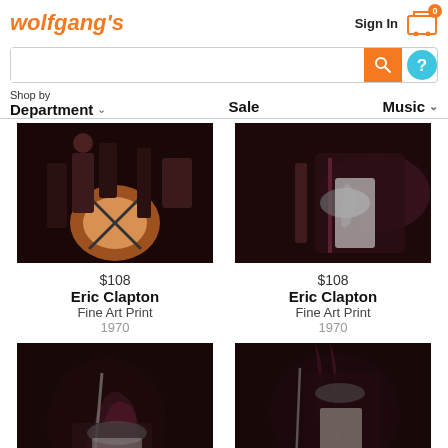wolfgang's — Sign In — Cart 0
[Figure (screenshot): wolfgang's website header with logo, Sign In link, cart icon, search bar with orange search button and teal help button, and navigation bar with Shop by Department, Sale, Music]
[Figure (photo): Concert photo of Eric Clapton band stage with drum kit, dark stage lighting, 1970]
$108
Eric Clapton
Fine Art Print
1970
[Figure (photo): Concert photo of Eric Clapton playing guitar, dark stage, 1970]
$108
Eric Clapton
Fine Art Print
1970
[Figure (photo): Concert photo of Eric Clapton playing guitar on stage, dark background with stage lighting, 1970]
[Figure (photo): Concert photo of Eric Clapton playing guitar on stage, dark background, 1970]